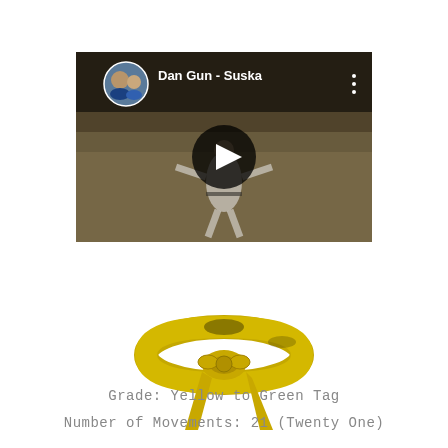[Figure (screenshot): YouTube video thumbnail showing a martial arts practitioner performing a technique, with the title 'Dan Gun - Suska' and a play button overlay. A circular profile picture of two people is shown in the top left corner.]
[Figure (illustration): Illustration of a yellow martial arts belt (karate/taekwondo belt) tied in a knot, representing the Yellow to Green Tag grade.]
Grade: Yellow to Green Tag
Number of Movements: 21 (Twenty One)